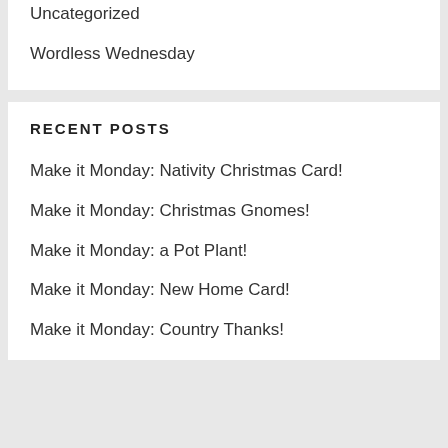Uncategorized
Wordless Wednesday
RECENT POSTS
Make it Monday: Nativity Christmas Card!
Make it Monday: Christmas Gnomes!
Make it Monday: a Pot Plant!
Make it Monday: New Home Card!
Make it Monday: Country Thanks!